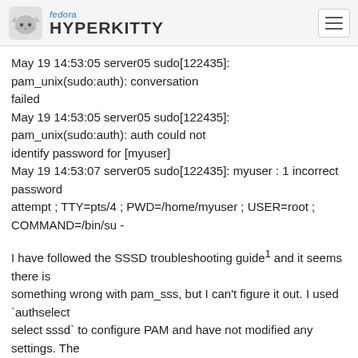fedora HYPERKITTY
May 19 14:53:05 server05 sudo[122435]: pam_unix(sudo:auth): conversation
failed
May 19 14:53:05 server05 sudo[122435]: pam_unix(sudo:auth): auth could not
identify password for [myuser]
May 19 14:53:07 server05 sudo[122435]: myuser : 1 incorrect password
attempt ; TTY=pts/4 ; PWD=/home/myuser ; USER=root ;
COMMAND=/bin/su -
I have followed the SSSD troubleshooting guide¹ and it seems there is
something wrong with pam_sss, but I can't figure it out. I used `authselect
select sssd` to configure PAM and have not modified any settings. The
configuration seems to be valid:
# authselect check